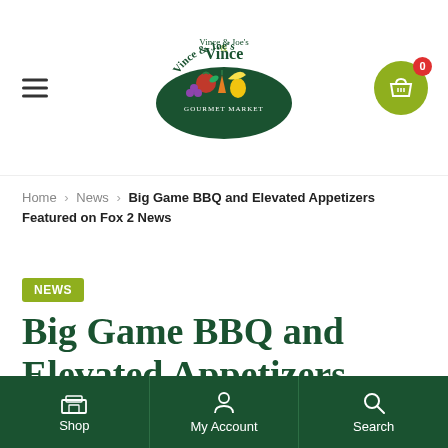[Figure (logo): Vince & Joe's Gourmet Market logo with vegetables]
Home › News › Big Game BBQ and Elevated Appetizers Featured on Fox 2 News
NEWS
Big Game BBQ and Elevated Appetizers Featured on Fox 2 News
January 22, 2021 / by Marina Cracchiolo / 0
Shop   My Account   Search